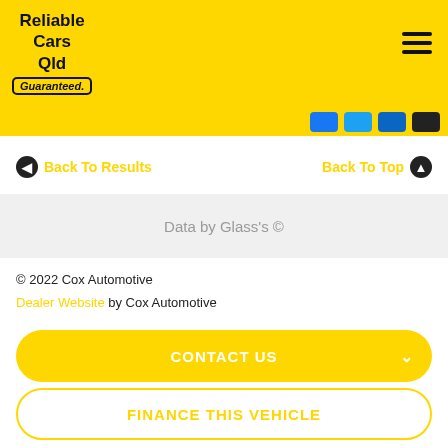[Figure (logo): Reliable Cars Qld Guaranteed. logo on yellow background with hamburger menu icon]
[Figure (infographic): Social media buttons: Facebook (blue), Twitter (light blue), LinkedIn (dark blue), YouTube/other (dark)]
Back To Results
Back To Top
Data by Glass's ©
© 2022 Cox Automotive
Dealer Website by Cox Automotive
CONTACT US
FINANCE THIS VEHICLE